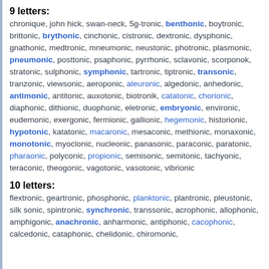9 letters:
chronique, john hick, swan-neck, 5g-tronic, benthonic, boytronic, brittonic, brythonic, cinchonic, cistronic, dextronic, dysphonic, gnathonic, medtronic, mneumonic, neustonic, photronic, plasmonic, pneumonic, posttonic, psaphonic, pyrrhonic, sclavonic, scorponok, stratonic, sulphonic, symphonic, tartronic, tiptronic, transonic, tranzonic, viewsonic, aeroponic, aleuronic, algedonic, anhedonic, antimonic, antitonic, auxotonic, biotronik, catatonic, chorionic, diaphonic, dithionic, duophonic, eletronic, embryonic, environic, eudemonic, exergonic, fermionic, gallionic, hegemonic, historionic, hypotonic, katatonic, macaronic, mesaconic, methionic, monaxonic, monotonic, myoclonic, nucleonic, panasonic, paraconic, paratonic, pharaonic, polyconic, propionic, semisonic, semitonic, tachyonic, teraconic, theogonic, vagotonic, vasotonic, vibrionic
10 letters:
flextronic, geartronic, phosphonic, planktonic, plantronic, pleustonic, silk sonic, spintronic, synchronic, transsonic, acrophonic, allophonic, amphigonic, anachronic, anharmonic, antiphonic, cacophonic, calcedonic, cataphonic, chelidonic, chiromonic,